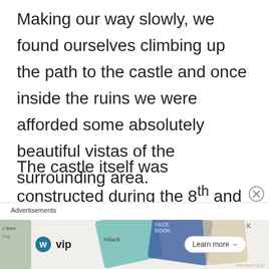Making our way slowly, we found ourselves climbing up the path to the castle and once inside the ruins we were afforded some absolutely beautiful vistas of the surrounding area.
The castle itself was constructed during the 8th and 9th centuries and was an important strategic point during the Reconquista, before being taken by
[Figure (other): Advertisement banner showing WordPress VIP logo with colorful card graphics (Slack, Facebook branding) and a Learn more button]